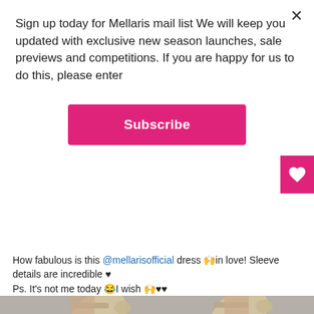Sign up today for Mellaris mail list We will keep you updated with exclusive new season launches, sale previews and competitions. If you are happy for us to do this, please enter
Subscribe
[Figure (photo): Close-up photo of feet wearing silver/gold high heel stiletto shoes on a grey textured carpet]
View more on Instagram
522 likes
elizas_everyday
How fabulous is this @mellarisofficial dress 🙌in love! Sleeve details are incredible ♥
Ps. It's not me today 😂I wish 🙌♥♥